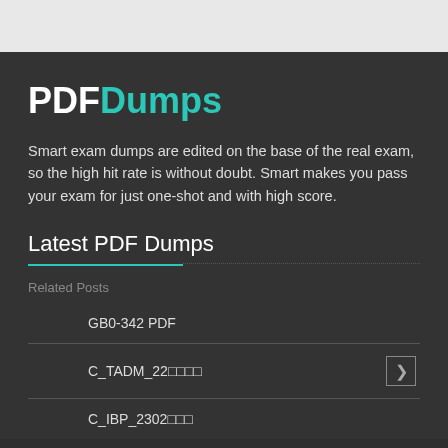PDFDumps
Smart exam dumps are edited on the base of the real exam, so the high hit rate is without doubt. Smart makes you pass your exam for just one-shot and with high score.
Latest PDF Dumps
Related Posts
GB0-342 PDF
C_TADM_22 (garbled text)
C_IBP_2302 (garbled text)